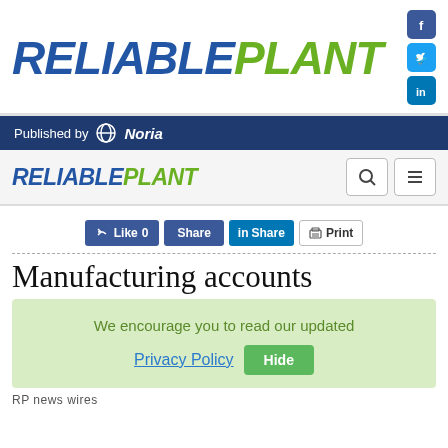RELIABLEPLANT — Published by Noria
[Figure (logo): ReliablePlant logo in blue and green italic bold text with Facebook, Twitter, LinkedIn social icons]
RELIABLEPLANT navigation bar with search and menu icons
Like 0  Share  in Share  Print
Manufacturing accounts
We encourage you to read our updated Privacy Policy  Hide
RP news wires